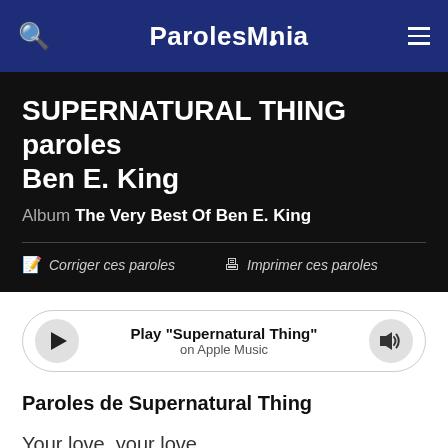ParolesMania
SUPERNATURAL THING paroles Ben E. King
Album The Very Best Of Ben E. King
Corriger ces paroles   Imprimer ces paroles
[Figure (other): Apple Music player bar with play button, text 'Play "Supernatural Thing" on Apple Music', and volume button]
Paroles de Supernatural Thing
Your love, your love